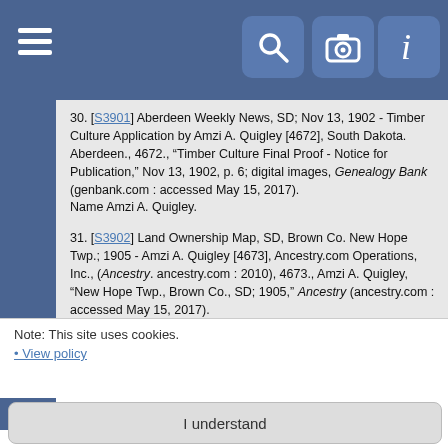Navigation bar with menu, search, camera, and info icons
30. [S3901] Aberdeen Weekly News, SD; Nov 13, 1902 - Timber Culture Application by Amzi A. Quigley [4672], South Dakota. Aberdeen., 4672., "Timber Culture Final Proof - Notice for Publication," Nov 13, 1902, p. 6; digital images, Genealogy Bank (genbank.com : accessed May 15, 2017). Name Amzi A. Quigley.
31. [S3902] Land Ownership Map, SD, Brown Co. New Hope Twp.; 1905 - Amzi A. Quigley [4673], Ancestry.com Operations, Inc., (Ancestry. ancestry.com : 2010), 4673., Amzi A. Quigley, "New Hope Twp., Brown Co., SD; 1905," Ancestry (ancestry.com : accessed May 15, 2017). Name Amzi A. Quigley.
32. [S3903] City Directory, CO, Denver; 1906 - Elbert F. Quigley Family [4674], Ancestry.com Operations, Inc., (Ancestry. ancestry.com : 2011), 4674., Elbert F. Quigley Family: 1015; Name Amzi A. Quigley.
Note: This site uses cookies.
• View policy
I understand